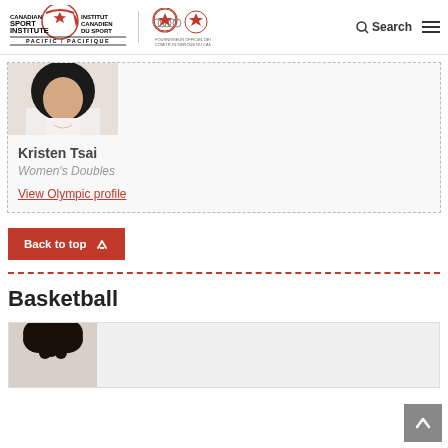Canadian Sport Institute Pacific / Institut Canadien du Sport Pacifique — Search
[Figure (photo): Partial photo of athlete Kristen Tsai, showing dark hair and white top]
Kristen Tsai
Women's Doubles
View Olympic profile
Back to top
Basketball
[Figure (photo): Partial photo of basketball athlete, showing top of curly dark hair]